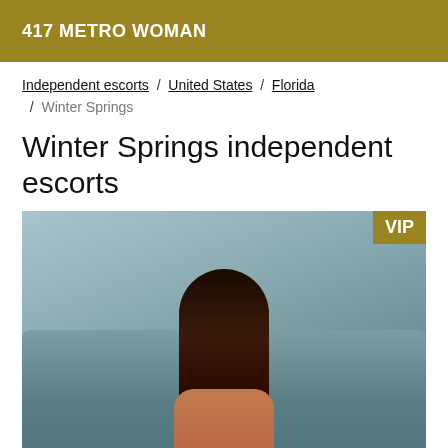417 METRO WOMAN
Independent escorts / United States / Florida / Winter Springs
Winter Springs independent escorts
[Figure (photo): Woman with long dark hair sitting with back to camera on a grey sofa/couch, viewed from behind. VIP badge in top right corner.]